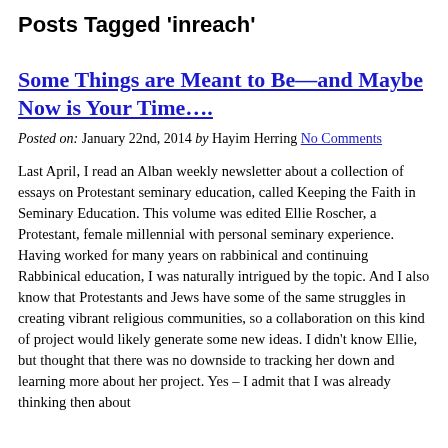Posts Tagged ‘inreach’
Some Things are Meant to Be—and Maybe Now is Your Time….
Posted on: January 22nd, 2014 by Hayim Herring No Comments
Last April, I read an Alban weekly newsletter about a collection of essays on Protestant seminary education, called Keeping the Faith in Seminary Education. This volume was edited Ellie Roscher, a Protestant, female millennial with personal seminary experience. Having worked for many years on rabbinical and continuing Rabbinical education, I was naturally intrigued by the topic. And I also know that Protestants and Jews have some of the same struggles in creating vibrant religious communities, so a collaboration on this kind of project would likely generate some new ideas. I didn’t know Ellie, but thought that there was no downside to tracking her down and learning more about her project. Yes – I admit that I was already thinking then about